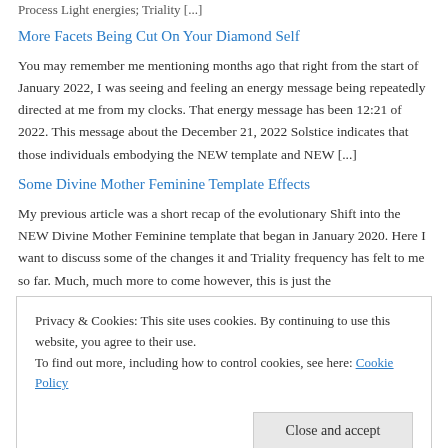Process Light energies; Triality [...]
More Facets Being Cut On Your Diamond Self
You may remember me mentioning months ago that right from the start of January 2022, I was seeing and feeling an energy message being repeatedly directed at me from my clocks. That energy message has been 12:21 of 2022. This message about the December 21, 2022 Solstice indicates that those individuals embodying the NEW template and NEW [...]
Some Divine Mother Feminine Template Effects
My previous article was a short recap of the evolutionary Shift into the NEW Divine Mother Feminine template that began in January 2020. Here I want to discuss some of the changes it and Triality frequency has felt to me so far. Much, much more to come however, this is just the
Privacy & Cookies: This site uses cookies. By continuing to use this website, you agree to their use.
To find out more, including how to control cookies, see here: Cookie Policy
Close and accept
Register